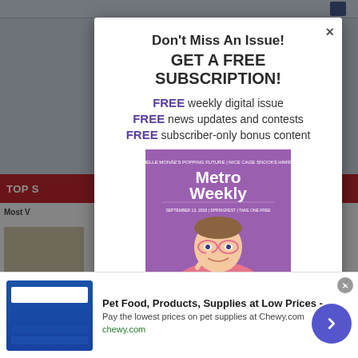Don't Miss An Issue!
GET A FREE SUBSCRIPTION!
FREE weekly digital issue
FREE news updates and contests
FREE subscriber-only bonus content
[Figure (photo): MetroWeekly magazine cover showing a man in a pink sequined tuxedo jacket with a black bow tie, holding pink glasses. Text reads 'Rainbow Connection'.]
Pet Food, Products, Supplies at Low Prices -
Pay the lowest prices on pet supplies at Chewy.com
chewy.com